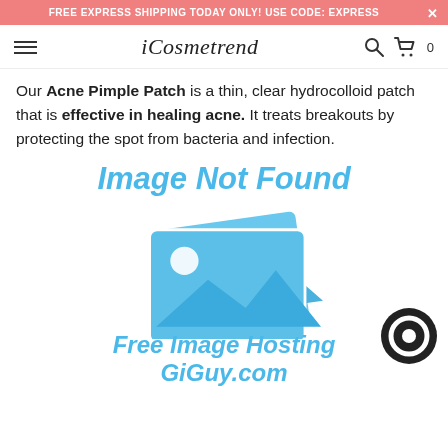FREE EXPRESS SHIPPING TODAY ONLY! USE CODE: EXPRESS
[Figure (screenshot): iCosmetrend navigation bar with hamburger menu, logo, search icon, and cart with 0 items]
Our Acne Pimple Patch is a thin, clear hydrocolloid patch that is effective in healing acne. It treats breakouts by protecting the spot from bacteria and infection.
[Figure (other): Image Not Found placeholder with stacked photo icons and text 'Free Image Hosting GiGuy.com']